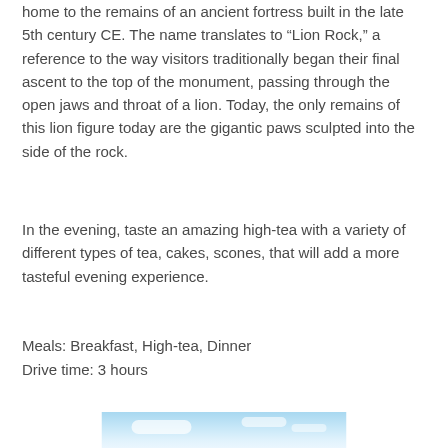home to the remains of an ancient fortress built in the late 5th century CE. The name translates to “Lion Rock,” a reference to the way visitors traditionally began their final ascent to the top of the monument, passing through the open jaws and throat of a lion. Today, the only remains of this lion figure today are the gigantic paws sculpted into the side of the rock.
In the evening, taste an amazing high-tea with a variety of different types of tea, cakes, scones, that will add a more tasteful evening experience.
Meals: Breakfast, High-tea, Dinner
Drive time: 3 hours
[Figure (photo): Partial view of a blue sky with white clouds — bottom portion of a travel destination photo]